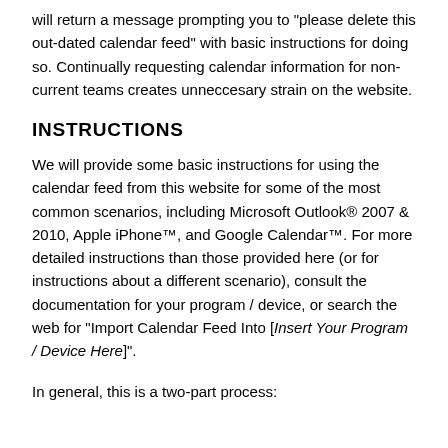will return a message prompting you to "please delete this out-dated calendar feed" with basic instructions for doing so. Continually requesting calendar information for non-current teams creates unneccesary strain on the website.
INSTRUCTIONS
We will provide some basic instructions for using the calendar feed from this website for some of the most common scenarios, including Microsoft Outlook® 2007 & 2010, Apple iPhone™, and Google Calendar™. For more detailed instructions than those provided here (or for instructions about a different scenario), consult the documentation for your program / device, or search the web for "Import Calendar Feed Into [Insert Your Program / Device Here]".
In general, this is a two-part process: